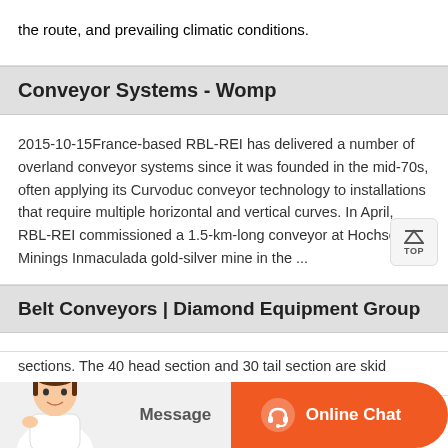the route, and prevailing climatic conditions.
Conveyor Systems - Womp
2015-10-15France-based RBL-REI has delivered a number of overland conveyor systems since it was founded in the mid-70s, often applying its Curvoduc conveyor technology to installations that require multiple horizontal and vertical curves. In April, RBL-REI commissioned a 1.5-km-long conveyor at Hochschild Minings Inmaculada gold-silver mine in the ...
Belt Conveyors | Diamond Equipment Group
verland Conveyor. GI CC Series Overland Channel Frame sections. The 40 head section and 30 tail section are skid